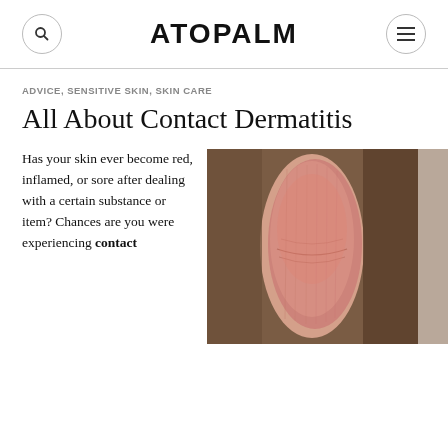ATOPALM
ADVICE, SENSITIVE SKIN, SKIN CARE
All About Contact Dermatitis
Has your skin ever become red, inflamed, or sore after dealing with a certain substance or item? Chances are you were experiencing contact
[Figure (photo): Close-up photograph of a person's wrist/forearm showing red, inflamed skin indicative of contact dermatitis, against a brown background.]